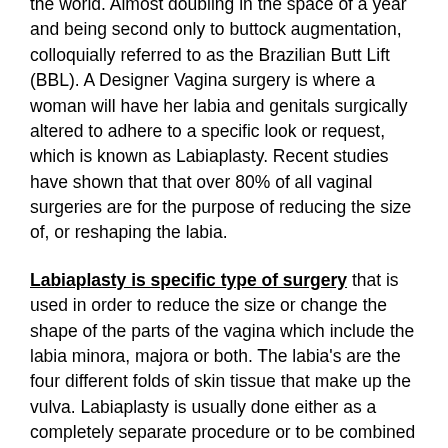the world. Almost doubling in the space of a year and being second only to buttock augmentation, colloquially referred to as the Brazilian Butt Lift (BBL). A Designer Vagina surgery is where a woman will have her labia and genitals surgically altered to adhere to a specific look or request, which is known as Labiaplasty. Recent studies have shown that that over 80% of all vaginal surgeries are for the purpose of reducing the size of, or reshaping the labia.
Labiaplasty is specific type of surgery that is used in order to reduce the size or change the shape of the parts of the vagina which include the labia minora, majora or both. The labia's are the four different folds of skin tissue that make up the vulva. Labiaplasty is usually done either as a completely separate procedure or to be combined with vaginal surgery.
There are some women out there who have become